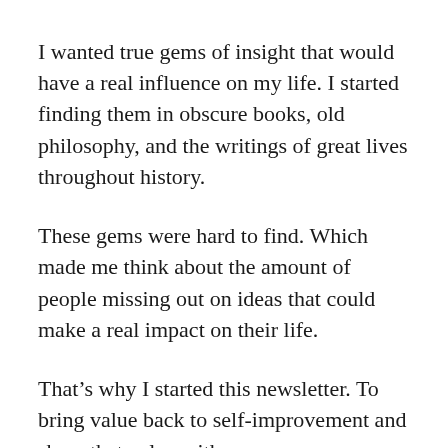I wanted true gems of insight that would have a real influence on my life. I started finding them in obscure books, old philosophy, and the writings of great lives throughout history.
These gems were hard to find. Which made me think about the amount of people missing out on ideas that could make a real impact on their life.
That’s why I started this newsletter. To bring value back to self-improvement and share that value with you.